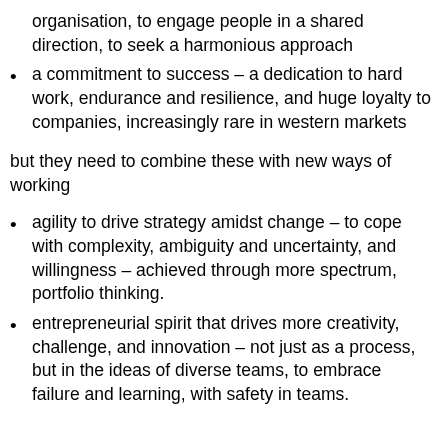organisation, to engage people in a shared direction, to seek a harmonious approach
a commitment to success – a dedication to hard work, endurance and resilience, and huge loyalty to companies, increasingly rare in western markets
but they need to combine these with new ways of working
agility to drive strategy amidst change – to cope with complexity, ambiguity and uncertainty, and willingness – achieved through more spectrum, portfolio thinking.
entrepreneurial spirit that drives more creativity, challenge, and innovation – not just as a process, but in the ideas of diverse teams, to embrace failure and learning, with safety in teams.